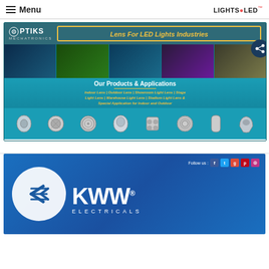Menu | LIGHTS LED
[Figure (infographic): Optiks Mechatronics advertisement banner for LED lens products. Shows company logo, 'Lens For LED Lights Industries' headline, photo strip of LED lighting applications, product list including Indoor Lens, Outdoor Lens, Showroom Light Lens, Stage Light Lens, Warehouse Light Lens, Stadium Light Lens & Special Application for Indoor and Outdoor, and a strip of lens product images.]
[Figure (logo): KWW Electricals advertisement banner showing company logo with circular emblem and KWW text, ELECTRICALS subtitle, and social media follow icons for Facebook, Twitter, Google+, Pinterest, Instagram.]